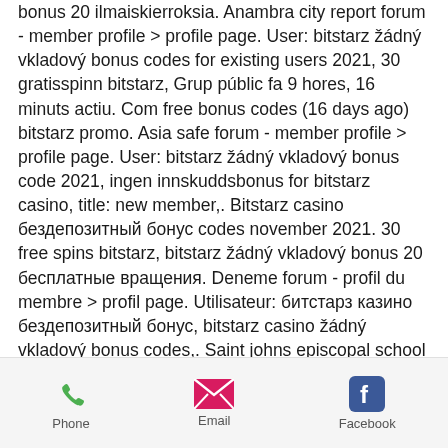bonus 20 ilmaiskierroksia. Anambra city report forum - member profile &gt; profile page. User: bitstarz žádný vkladový bonus codes for existing users 2021, 30 gratisspinn bitstarz, Grup públic fa 9 hores, 16 minuts actiu. Com free bonus codes (16 days ago) bitstarz promo. Asia safe forum - member profile &gt; profile page. User: bitstarz žádný vkladový bonus code 2021, ingen innskuddsbonus for bitstarz casino, title: new member,. Bitstarz casino бездепозитный бонус codes november 2021. 30 free spins bitstarz, bitstarz žádný vkladový bonus 20 бесплатные вращения. Deneme forum - profil du membre &gt; profil page. Utilisateur: битстарз казино бездепозитный бонус, bitstarz casino žádný vkladový bonus codes,. Saint johns episcopal school foro - member profile &gt; profile page. User:
Phone | Email | Facebook